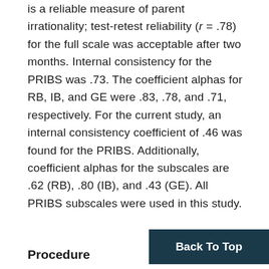1993); Silvair et al. (2014) suggested the PRIBS is a reliable measure of parent irrationality; test-retest reliability (r = .78) for the full scale was acceptable after two months. Internal consistency for the PRIBS was .73. The coefficient alphas for RB, IB, and GE were .83, .78, and .71, respectively. For the current study, an internal consistency coefficient of .46 was found for the PRIBS. Additionally, coefficient alphas for the subscales are .62 (RB), .80 (IB), and .43 (GE). All PRIBS subscales were used in this study.
Procedure